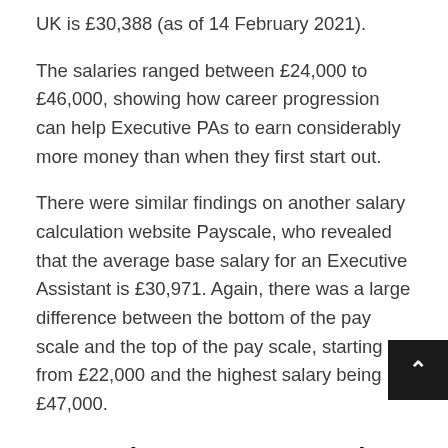UK is £30,388 (as of 14 February 2021).
The salaries ranged between £24,000 to £46,000, showing how career progression can help Executive PAs to earn considerably more money than when they first start out.
There were similar findings on another salary calculation website Payscale, who revealed that the average base salary for an Executive Assistant is £30,971. Again, there was a large difference between the bottom of the pay scale and the top of the pay scale, starting from £22,000 and the highest salary being £47,000.
How to become an Executive Personal Assistant
In order to be offered a role and have the chance to